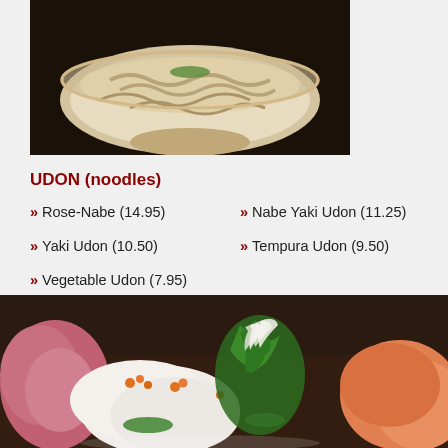[Figure (photo): Bowl of udon noodles in broth, viewed from slightly above, in a white ceramic bowl on a dark background]
UDON (noodles)
Rose-Nabe (14.95)
Nabe Yaki Udon (11.25)
Yaki Udon (10.50)
Tempura Udon (9.50)
Vegetable Udon (7.95)
[Figure (photo): Close-up of sashimi platter with white fish pieces topped with orange roe, green shiso leaves, cucumber, and salmon, on a white plate]